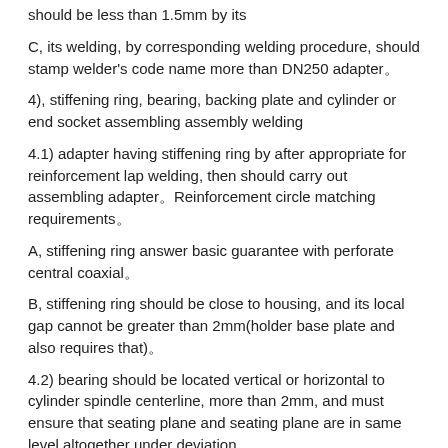should be less than 1.5mm by its
C, its welding, by corresponding welding procedure, should stamp welder's code name more than DN250 adapter。
4), stiffening ring, bearing, backing plate and cylinder or end socket assembling assembly welding
4.1) adapter having stiffening ring by after appropriate for reinforcement lap welding, then should carry out assembling adapter。Reinforcement circle matching requirements。
A, stiffening ring answer basic guarantee with perforate central coaxial。
B, stiffening ring should be close to housing, and its local gap cannot be greater than 2mm(holder base plate and also requires that)。
4.2) bearing should be located vertical or horizontal to cylinder spindle centerline, more than 2mm, and must ensure that seating plane and seating plane are in same level altogether under deviation。
5), equipment internals and barrier part or closing end component